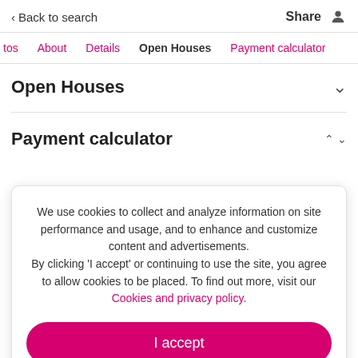< Back to search    Share
tos  About  Details  Open Houses  Payment calculator
Open Houses
Payment calculator
We use cookies to collect and analyze information on site performance and usage, and to enhance and customize content and advertisements. By clicking 'I accept' or continuing to use the site, you agree to allow cookies to be placed. To find out more, visit our Cookies and privacy policy.
I accept